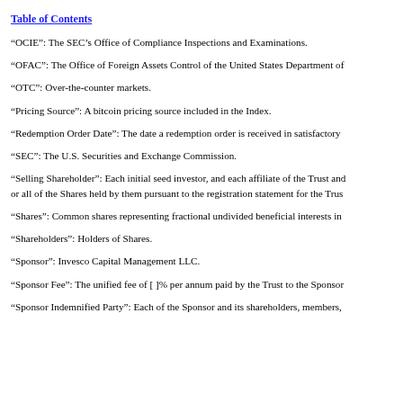Table of Contents
“OCIE”: The SEC’s Office of Compliance Inspections and Examinations.
“OFAC”: The Office of Foreign Assets Control of the United States Department of
“OTC”: Over-the-counter markets.
“Pricing Source”: A bitcoin pricing source included in the Index.
“Redemption Order Date”: The date a redemption order is received in satisfactory
“SEC”: The U.S. Securities and Exchange Commission.
“Selling Shareholder”: Each initial seed investor, and each affiliate of the Trust and or all of the Shares held by them pursuant to the registration statement for the Trus
“Shares”: Common shares representing fractional undivided beneficial interests in
“Shareholders”: Holders of Shares.
“Sponsor”: Invesco Capital Management LLC.
“Sponsor Fee”: The unified fee of [ ]% per annum paid by the Trust to the Sponsor
“Sponsor Indemnified Party”: Each of the Sponsor and its shareholders, members,